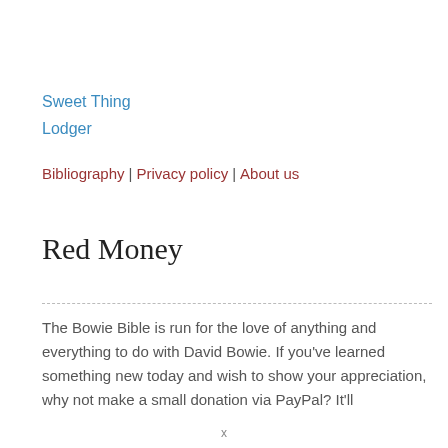Sweet Thing
Lodger
Bibliography | Privacy policy | About us
Red Money
The Bowie Bible is run for the love of anything and everything to do with David Bowie. If you've learned something new today and wish to show your appreciation, why not make a small donation via PayPal? It'll help keep the servers running and the site going.
x